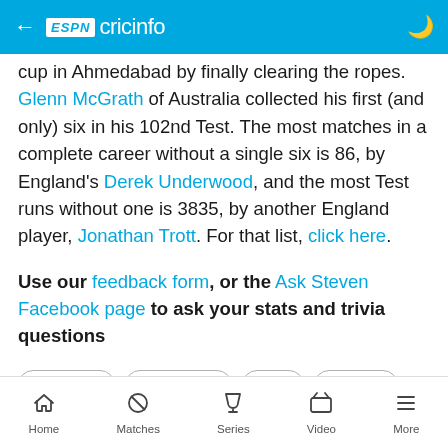ESPN cricinfo
cup in Ahmedabad by finally clearing the ropes. Glenn McGrath of Australia collected his first (and only) six in his 102nd Test. The most matches in a complete career without a single six is 86, by England's Derek Underwood, and the most Test runs without one is 3835, by another England player, Jonathan Trott. For that list, click here.
Use our feedback form, or the Ask Steven Facebook page to ask your stats and trivia questions
Axar Patel
Gubby Allen
India
England
India vs England
England tour of India
Home | Matches | Series | Video | More